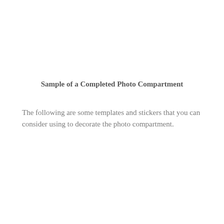Sample of a Completed Photo Compartment
The following are some templates and stickers that you can consider using to decorate the photo compartment.